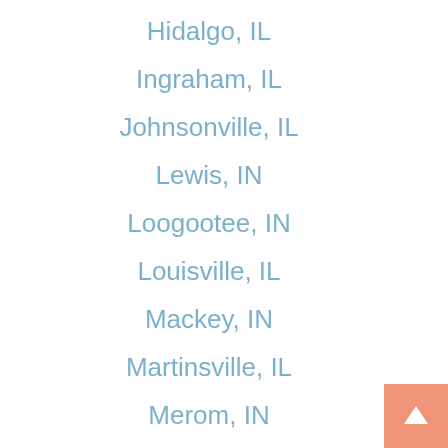Hidalgo, IL
Ingraham, IL
Johnsonville, IL
Lewis, IN
Loogootee, IN
Louisville, IL
Mackey, IN
Martinsville, IL
Merom, IN
New Lebanon, IN
Oakland City, IN
Oaktown, IN